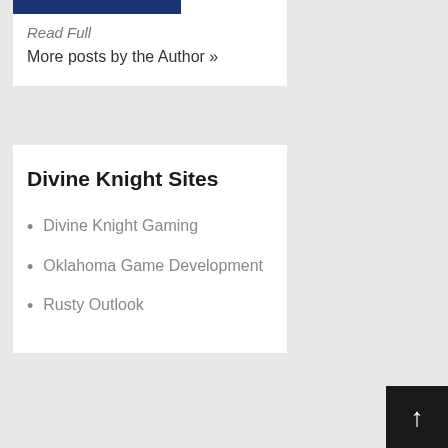Read Full
More posts by the Author »
Divine Knight Sites
Divine Knight Gaming
Oklahoma Game Development
Rusty Outlook